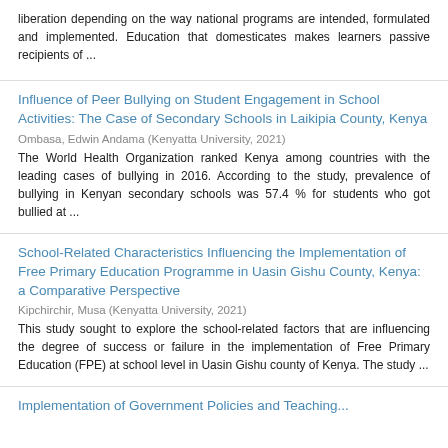liberation depending on the way national programs are intended, formulated and implemented. Education that domesticates makes learners passive recipients of ...
Influence of Peer Bullying on Student Engagement in School Activities: The Case of Secondary Schools in Laikipia County, Kenya
Ombasa, Edwin Andama (Kenyatta University, 2021)
The World Health Organization ranked Kenya among countries with the leading cases of bullying in 2016. According to the study, prevalence of bullying in Kenyan secondary schools was 57.4 % for students who got bullied at ...
School-Related Characteristics Influencing the Implementation of Free Primary Education Programme in Uasin Gishu County, Kenya: a Comparative Perspective
Kipchirchir, Musa (Kenyatta University, 2021)
This study sought to explore the school-related factors that are influencing the degree of success or failure in the implementation of Free Primary Education (FPE) at school level in Uasin Gishu county of Kenya. The study ...
Implementation of Government Policies and Teaching...